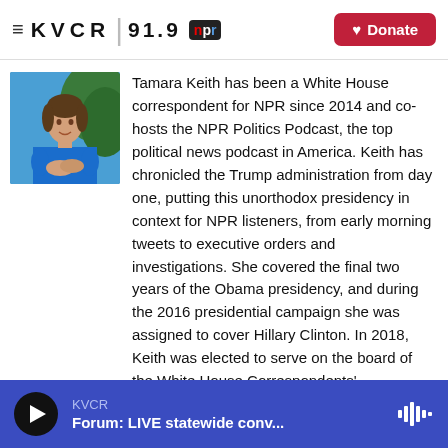KVCR 91.9 NPR | Donate
[Figure (photo): Photo of Tamara Keith, a woman wearing a blue top, outdoors with green background]
Tamara Keith has been a White House correspondent for NPR since 2014 and co-hosts the NPR Politics Podcast, the top political news podcast in America. Keith has chronicled the Trump administration from day one, putting this unorthodox presidency in context for NPR listeners, from early morning tweets to executive orders and investigations. She covered the final two years of the Obama presidency, and during the 2016 presidential campaign she was assigned to cover Hillary Clinton. In 2018, Keith was elected to serve on the board of the White House Correspondents' Association.
KVCR | Forum: LIVE statewide conv...